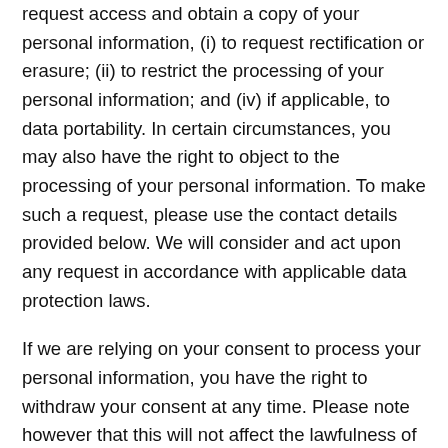request access and obtain a copy of your personal information, (i) to request rectification or erasure; (ii) to restrict the processing of your personal information; and (iv) if applicable, to data portability. In certain circumstances, you may also have the right to object to the processing of your personal information. To make such a request, please use the contact details provided below. We will consider and act upon any request in accordance with applicable data protection laws.
If we are relying on your consent to process your personal information, you have the right to withdraw your consent at any time. Please note however that this will not affect the lawfulness of the processing before its withdrawal.